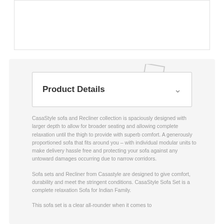[Figure (photo): White rectangular image placeholder box at the top of the page]
Product Details
CasaStyle sofa and Recliner collection is spaciously designed with larger depth to allow for broader seating and allowing complete relaxation until the thigh to provide with superb comfort. A generously proportioned sofa that fits around you – with individual modular units to make delivery hassle free and protecting your sofa against any untoward damages occurring due to narrow corridors.
Sofa sets and Recliner from Casastyle are designed to give comfort, durability and meet the stringent conditions. CasaStyle Sofa Set is a complete relaxation Sofa for Indian Family.
This sofa set is a clear all-rounder when it comes to